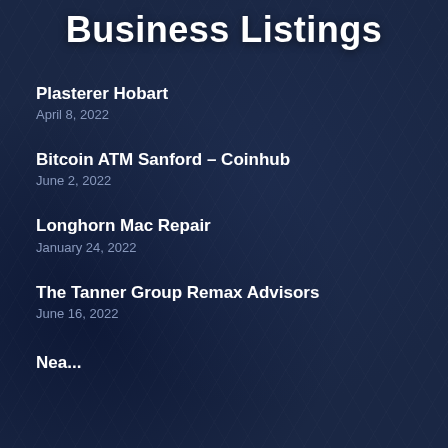Business Listings
Plasterer Hobart
April 8, 2022
Bitcoin ATM Sanford – Coinhub
June 2, 2022
Longhorn Mac Repair
January 24, 2022
The Tanner Group Remax Advisors
June 16, 2022